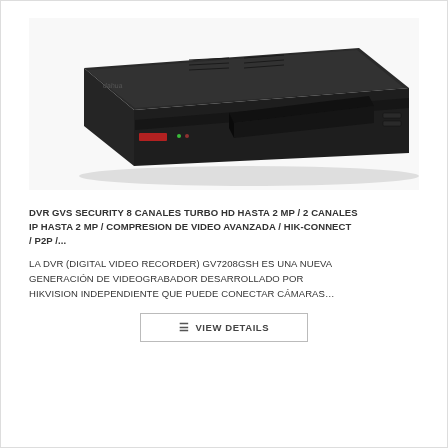[Figure (photo): A black Dahua DVR/NVR unit, a flat rack-mountable box with a dark matte finish, viewed from a slight angle showing the top and front panel.]
DVR GVS SECURITY 8 CANALES TURBO HD HASTA 2 MP / 2 CANALES IP HASTA 2 MP / COMPRESION DE VIDEO AVANZADA / HIK-CONNECT / P2P /...
LA DVR (DIGITAL VIDEO RECORDER) GV7208GSH ES UNA NUEVA GENERACIÓN DE VIDEOGRABADOR DESARROLLADO POR HIKVISION INDEPENDIENTE QUE PUEDE CONECTAR CÁMARAS…
VIEW DETAILS